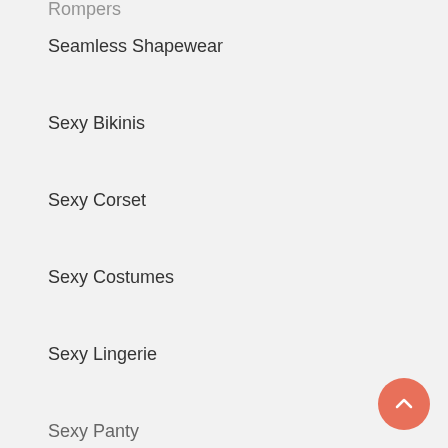Rompers
Seamless Shapewear
Sexy Bikinis
Sexy Corset
Sexy Costumes
Sexy Lingerie
Sexy Panty
Sexy Tops
Shapewear
Shapewear Leggings
Skater Dress
Sleepwear
sports wear